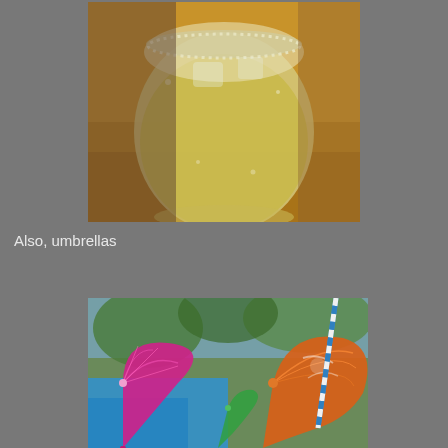[Figure (photo): Close-up photograph of a round glass filled with a pale yellow/golden iced drink, with a salted or sugared rim, on a wooden surface — likely a margarita or similar cocktail]
Also, umbrellas
[Figure (photo): Photograph of colorful paper cocktail umbrellas — a pink/magenta one in the foreground left and a large orange one in the center-right — with a blue and white straw visible, and a bright blue pool and green trees in the background]